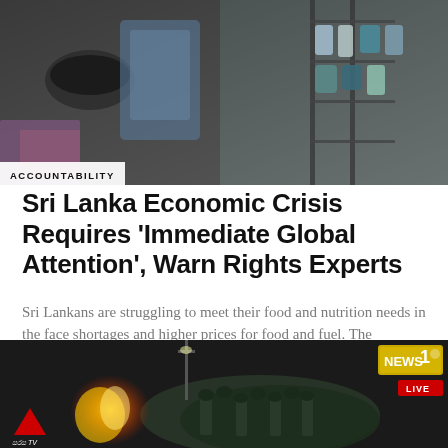[Figure (photo): A woman cooking or working with pots in a dimly lit market or home setting, with household items and containers visible in the background.]
ACCOUNTABILITY
Sri Lanka Economic Crisis Requires 'Immediate Global Attention', Warn Rights Experts
Sri Lankans are struggling to meet their food and nutrition needs in the face shortages and higher prices for food and fuel. The country...
OWSA CONTRIBUTOR  -  21 JULY 2022
[Figure (screenshot): A dark nighttime scene showing what appears to be a protest or unrest, with fire visible at left, military or police personnel in the middle, and Sirasa TV and News 1 logos visible as broadcast overlays. LIVE banner shown at right.]